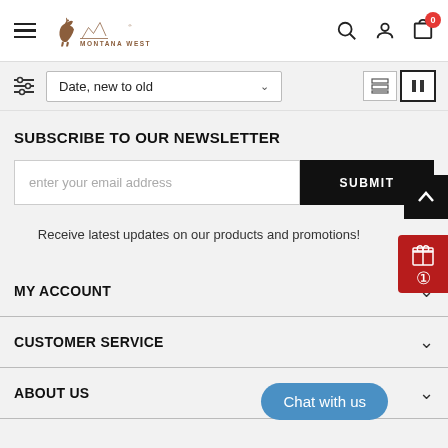Montana West - Navigation header with hamburger menu, logo, search, account, and cart icons
Date, new to old (sort dropdown) with filter and view toggle icons
SUBSCRIBE TO OUR NEWSLETTER
enter your email address
SUBMIT
Receive latest updates on our products and promotions!
MY ACCOUNT
CUSTOMER SERVICE
ABOUT US